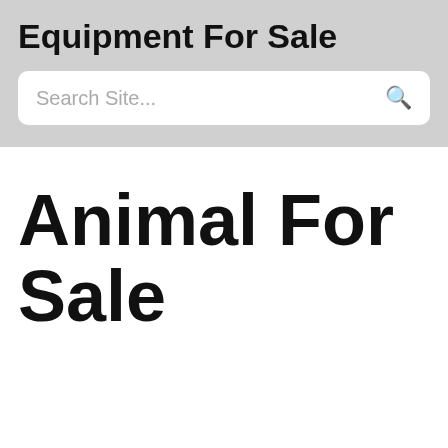Equipment For Sale
Search Site...
Animal For Sale